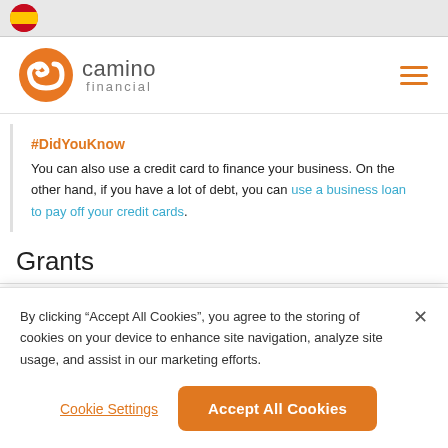[Figure (logo): Camino Financial logo with orange snail/arrow mark and company name]
#DidYouKnow
You can also use a credit card to finance your business. On the other hand, if you have a lot of debt, you can use a business loan to pay off your credit cards.
Grants
By clicking “Accept All Cookies”, you agree to the storing of cookies on your device to enhance site navigation, analyze site usage, and assist in our marketing efforts.
Cookie Settings
Accept All Cookies